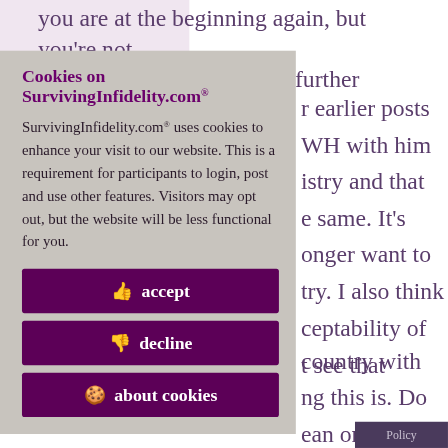you are at the beginning again, but you're not because you are that much further away from D-
[Figure (screenshot): Cookie consent modal overlay on SurvivingInfidelity.com with grey background, showing title 'Cookies on SurvivingInfidelity.com®', body text about cookies, and three purple buttons: accept, decline, about cookies]
r earlier posts WH with him istry and that e same. It's onger want to try. I also think cceptability of t see that
country with ng this is. Do ean on? At lly into your
Policy